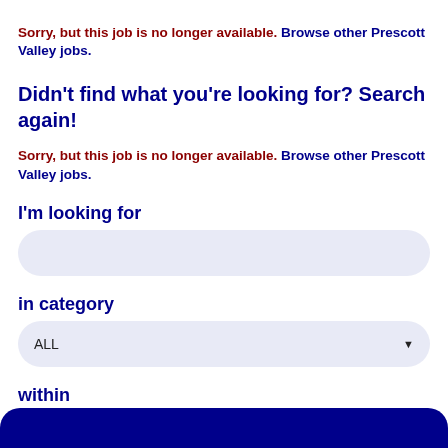Sorry, but this job is no longer available. Browse other Prescott Valley jobs.
Didn't find what you're looking for? Search again!
Sorry, but this job is no longer available. Browse other Prescott Valley jobs.
I'm looking for
in category
ALL
within
100 Miles of Prescott Valley